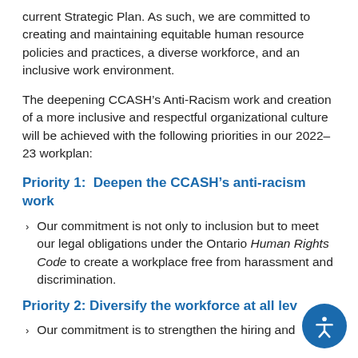current Strategic Plan. As such, we are committed to creating and maintaining equitable human resource policies and practices, a diverse workforce, and an inclusive work environment.
The deepening CCASH’s Anti-Racism work and creation of a more inclusive and respectful organizational culture will be achieved with the following priorities in our 2022–23 workplan:
Priority 1:  Deepen the CCASH’s anti-racism work
Our commitment is not only to inclusion but to meet our legal obligations under the Ontario Human Rights Code to create a workplace free from harassment and discrimination.
Priority 2: Diversify the workforce at all lev…
Our commitment is to strengthen the hiring and